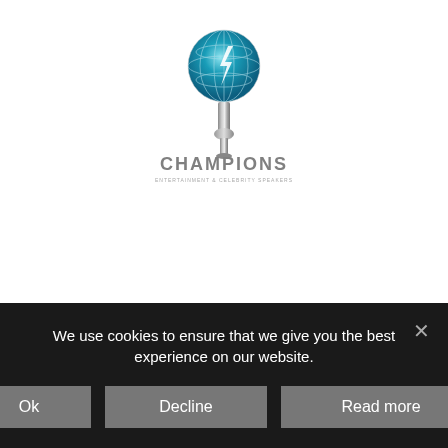[Figure (logo): Champions logo: a globe icon on a metallic microphone stand above the word CHAMPIONS in grey lettering with a subtitle tagline below]
We use cookies to ensure that we give you the best experience on our website.
Ok
Decline
Read more